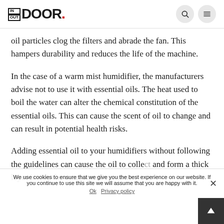IN OUT DOOR.
oil particles clog the filters and abrade the fan. This hampers durability and reduces the life of the machine.
In the case of a warm mist humidifier, the manufacturers advise not to use it with essential oils. The heat used to boil the water can alter the chemical constitution of the essential oils. This can cause the scent of oil to change and can result in potential health risks.
Adding essential oil to your humidifiers without following the guidelines can cause the oil to collect and form a thick layer inside the machine. Over time
We use cookies to ensure that we give you the best experience on our website. If you continue to use this site we will assume that you are happy with it.
Ok Privacy policy